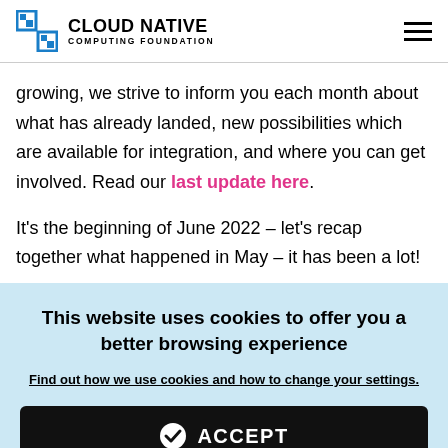CLOUD NATIVE COMPUTING FOUNDATION
growing, we strive to inform you each month about what has already landed, new possibilities which are available for integration, and where you can get involved. Read our last update here.
It's the beginning of June 2022 – let's recap together what happened in May – it has been a lot!
This website uses cookies to offer you a better browsing experience
Find out how we use cookies and how to change your settings.
ACCEPT